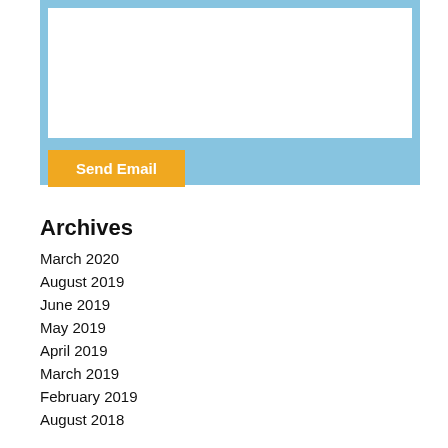[Figure (other): Light blue contact/email form widget with a white text area input and an orange 'Send Email' button]
Archives
March 2020
August 2019
June 2019
May 2019
April 2019
March 2019
February 2019
August 2018
June 2018
May 2018
April 2018